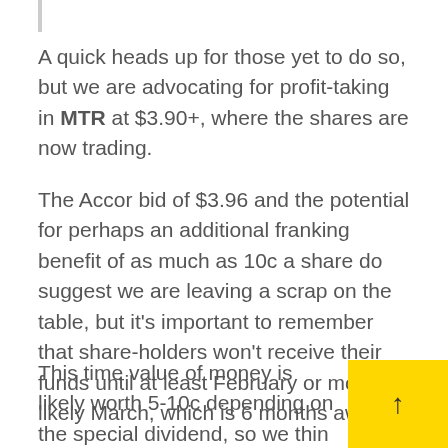A quick heads up for those yet to do so, but we are advocating for profit-taking in MTR at $3.90+, where the shares are now trading.
The Accor bid of $3.96 and the potential for perhaps an additional franking benefit of as much as 10c a share do suggest we are leaving a scrap on the table, but it's important to remember that share-holders won't receive their funds until at least February or more likely March, which is 6 months away.
This time value of money is likely worth 5-10c depending on the special dividend, so we thin likely that the shares will spend the better part of